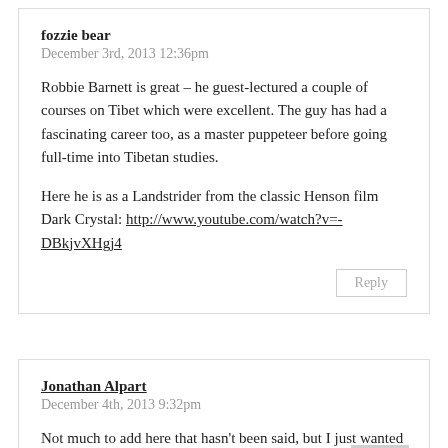fozzie bear
December 3rd, 2013 12:36pm
Robbie Barnett is great – he guest-lectured a couple of courses on Tibet which were excellent. The guy has had a fascinating career too, as a master puppeteer before going full-time into Tibetan studies.
Here he is as a Landstrider from the classic Henson film Dark Crystal: http://www.youtube.com/watch?v=-DBkjvXHgj4
Reply
Jonathan Alpart
December 4th, 2013 9:32pm
Not much to add here that hasn't been said, but I just wanted to say this was a fantastic write-up and was very interesting. I